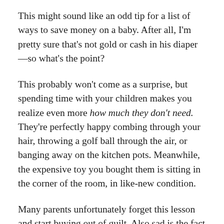This might sound like an odd tip for a list of ways to save money on a baby. After all, I'm pretty sure that's not gold or cash in his diaper—so what's the point?
This probably won't come as a surprise, but spending time with your children makes you realize even more how much they don't need. They're perfectly happy combing through your hair, throwing a golf ball through the air, or banging away on the kitchen pots. Meanwhile, the expensive toy you bought them is sitting in the corner of the room, in like-new condition.
Many parents unfortunately forget this lesson and start buying out of guilt. Also sad is the fact that no toy will ever replace the love a parent can give—you